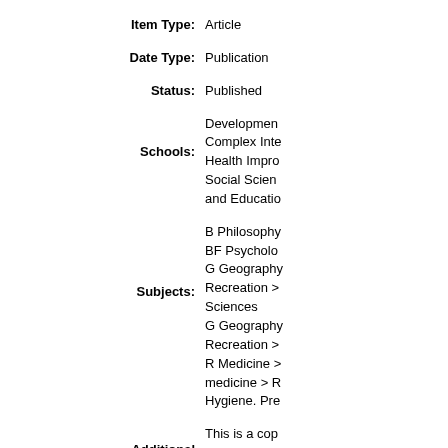Item Type: Article
Date Type: Publication
Status: Published
Schools: Development of Complex Inte... Health Impro... Social Sciene... and Educatio...
Subjects: B Philosophy... BF Psycholo... G Geography... Recreation > Sciences G Geography... Recreation > R Medicine > medicine > R... Hygiene. Pre...
Additional Information: This is a cop... Ecopsycholo... Ann Liebert, available onli... http://online.l...
Publisher: Mary Ann Lie...
ISSN: 1942-9347